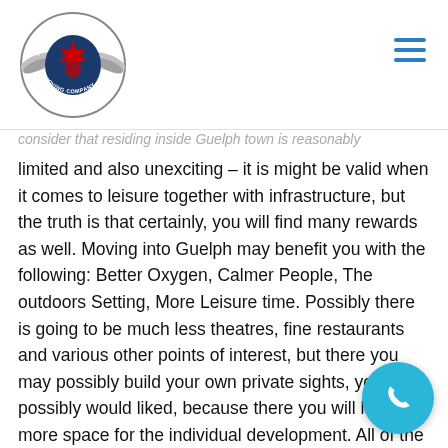[Figure (logo): Hercules Moving Company circular badge logo with wings and maple leaf]
consider that residing inside Guelph town is reasonably limited and also unexciting – it is might be valid when it comes to leisure together with infrastructure, but the truth is that certainly, you will find many rewards as well. Moving into Guelph may benefit you with the following: Better Oxygen, Calmer People, The outdoors Setting, More Leisure time. Possibly there is going to be much less theatres, fine restaurants and various other points of interest, but there you may possibly build your own private sights, you had possibly would liked, because there you will have more space for the individual development. All of the above had become the reality due to the Canada's fairly small populace of nearly thirty six Mill, which is certainly to be found inside massive cities and towns alongside the south border. You can find plenty of communities with less then Hundred Thousands of locals.